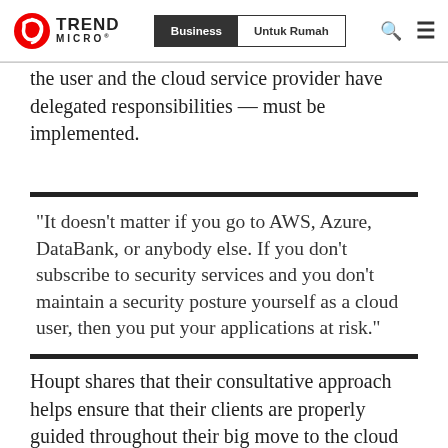Trend Micro | Business | Untuk Rumah
the user and the cloud service provider have delegated responsibilities — must be implemented.
“It doesn’t matter if you go to AWS, Azure, DataBank, or anybody else. If you don’t subscribe to security services and you don’t maintain a security posture yourself as a cloud user, then you put your applications at risk."
Houpt shares that their consultative approach helps ensure that their clients are properly guided throughout their big move to the cloud and that they understand their